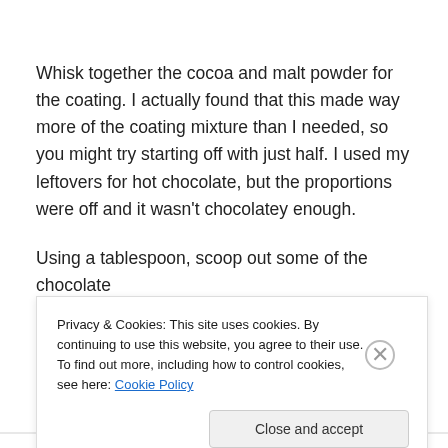Whisk together the cocoa and malt powder for the coating. I actually found that this made way more of the coating mixture than I needed, so you might try starting off with just half. I used my leftovers for hot chocolate, but the proportions were off and it wasn't chocolatey enough.
Using a tablespoon, scoop out some of the chocolate
Privacy & Cookies: This site uses cookies. By continuing to use this website, you agree to their use.
To find out more, including how to control cookies, see here: Cookie Policy
Close and accept